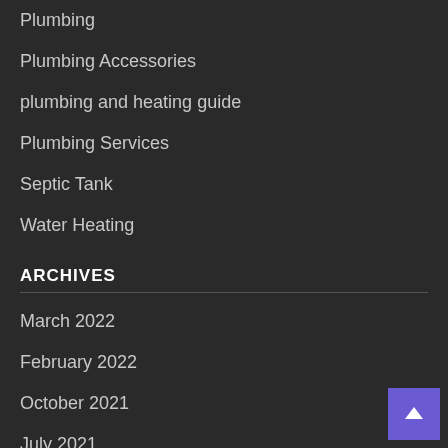Plumbing
Plumbing Accessories
plumbing and heating guide
Plumbing Services
Septic Tank
Water Heating
ARCHIVES
March 2022
February 2022
October 2021
July 2021
June 2021
April 2021
December 2020